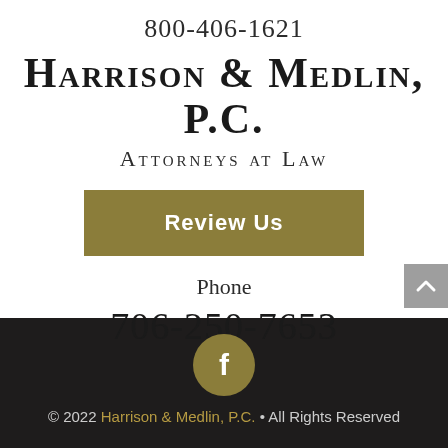800-406-1621
Harrison & Medlin, P.C.
Attorneys at Law
Review Us
Phone
706-250-7653
[Figure (logo): Facebook icon: circular gold/olive button with white letter f]
© 2022 Harrison & Medlin, P.C. • All Rights Reserved